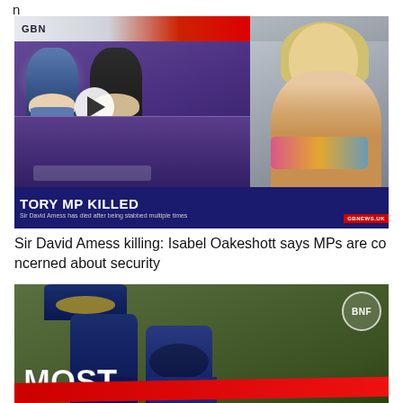n
[Figure (screenshot): GB News TV screenshot showing two news anchors at a desk on the left panel and a blonde woman on the right panel. Lower bar reads: TORY MP KILLED / Sir David Amess has died after being stabbed multiple times. GBN logo top left, GBNEWS.UK bottom right.]
Sir David Amess killing: Isabel Oakeshott says MPs are concerned about security
[Figure (screenshot): Thumbnail showing football player legs on a green pitch background. BNF logo top right. Text partially visible reading MOST and a red banner below.]